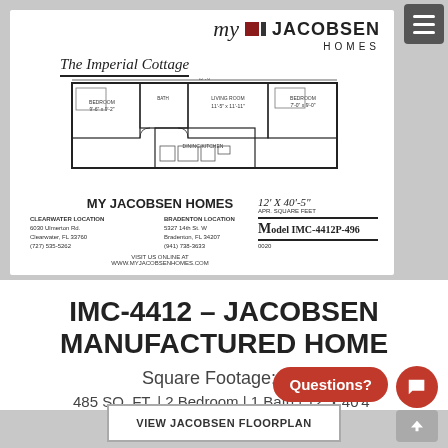[Figure (logo): My Jacobsen Homes logo with stylized 'My' text and red/dark square graphic, bold JACOBSEN HOMES text]
The Imperial Cottage
[Figure (engineering-diagram): Floor plan of The Imperial Cottage manufactured home showing room layout with 2 bedrooms, 1 bath, living area, kitchen. Dimensions 12' x 40'-5". Black and white architectural drawing.]
MY JACOBSEN HOMES
CLEARWATER LOCATION
6030 Ulmerton Rd.
Clearwater, FL 33760
(727) 535-5262
BRADENTON LOCATION
5327 14th St. W
Bradenton, FL 34207
(941) 738-3633
VISIT US ONLINE AT
WWW.MYJACOBSENHOMES.COM
12' X 40'-5"
APR. SQUARE FEET
Model IMC-4412P-496
IMC-4412 – JACOBSEN MANUFACTURED HOME
Square Footage:485
485 SQ. FT. | 2 Bedroom | 1 Bath | 12' x 40'4"
VIEW JACOBSEN FLOORPLAN